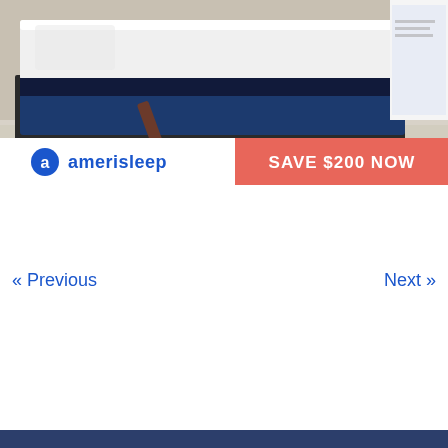[Figure (photo): Amerisleep mattress advertisement showing a white and navy blue foam mattress on a dark bed frame in a bedroom setting. Bottom portion has a white banner with the Amerisleep logo (blue 'a' icon and 'amerisleep' text) on the left, and a coral/salmon colored rectangle on the right with white bold text reading 'SAVE $200 NOW'.]
« Previous
Next »